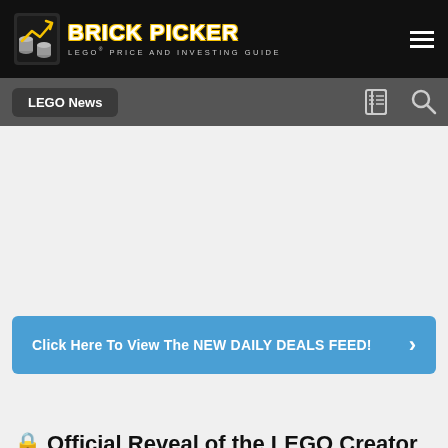[Figure (logo): Brick Picker logo with coin/chart icon and text 'BRICK PICKER - LEGO PRICE AND INVESTING GUIDE']
LEGO News
[Figure (other): Advertisement / blank ad area]
Click Here To View The NEW DAILY DEALS FEED!
🔒 Official Reveal of the LEGO Creator Corner Garage (10264)